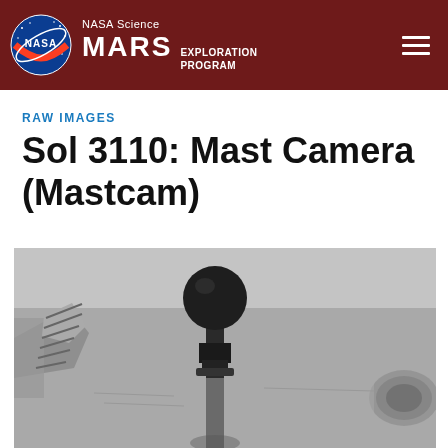NASA Science MARS EXPLORATION PROGRAM
RAW IMAGES
Sol 3110: Mast Camera (Mastcam)
[Figure (photo): Black and white raw image from Mars Curiosity Rover Mastcam showing rover hardware components including a spherical calibration target on a mast, with parts of the rover deck and mechanical arm visible in the foreground and background.]